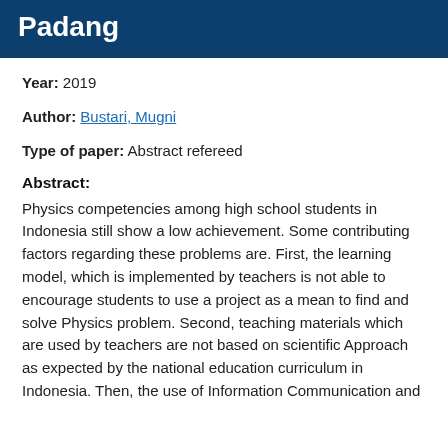Padang
Year: 2019
Author: Bustari, Mugni
Type of paper: Abstract refereed
Abstract:
Physics competencies among high school students in Indonesia still show a low achievement. Some contributing factors regarding these problems are. First, the learning model, which is implemented by teachers is not able to encourage students to use a project as a mean to find and solve Physics problem. Second, teaching materials which are used by teachers are not based on scientific Approach as expected by the national education curriculum in Indonesia. Then, the use of Information Communication and